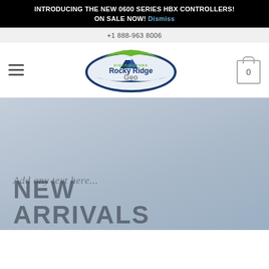INTRODUCING THE NEW 0600 SERIES HBX CONTROLLERS! ON SALE NOW! Dismiss
+1 888-963 8006
[Figure (logo): Rocky Ridge Geo Distributors logo — oval shape with blue and green swooshes, mountain graphic, text 'DISTRIBUTORS Rocky Ridge Geo' in blue and grey]
Add any text here...
NEW ARRIVALS